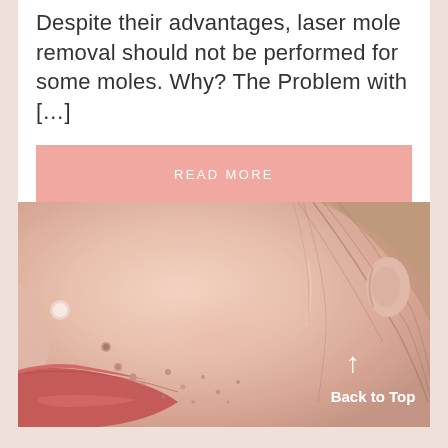Despite their advantages, laser mole removal should not be performed for some moles. Why? The Problem with […]
READ MORE
[Figure (photo): Close-up photo of a woman's face showing moles and skin blemishes on the cheek, with pink lips visible in the lower left corner and the ear visible on the right side.]
Back to Top